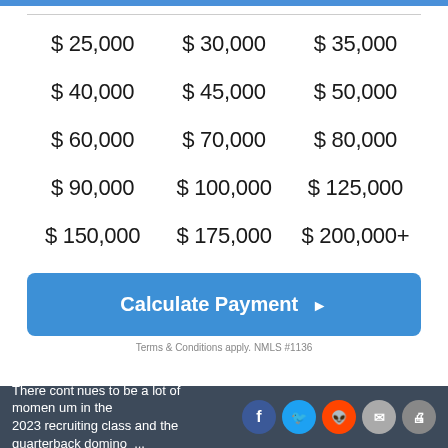| $ 25,000 | $ 30,000 | $ 35,000 |
| $ 40,000 | $ 45,000 | $ 50,000 |
| $ 60,000 | $ 70,000 | $ 80,000 |
| $ 90,000 | $ 100,000 | $ 125,000 |
| $ 150,000 | $ 175,000 | $ 200,000+ |
Calculate Payment ▶
Terms & Conditions apply. NMLS #1136
There continues to be a lot of momentum in the 2023 recruiting class and the quarterback dominoe...